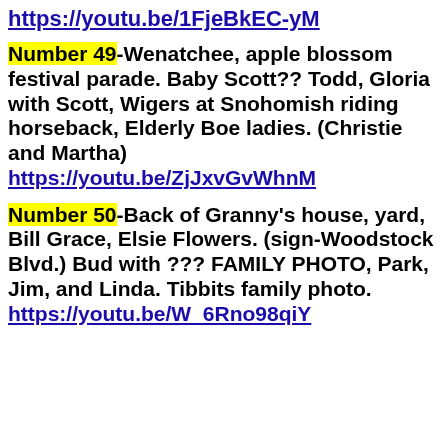https://youtu.be/1FjeBkEC-yM
Number 49-Wenatchee, apple blossom festival parade. Baby Scott?? Todd, Gloria with Scott, Wigers at Snohomish riding horseback, Elderly Boe ladies. (Christie and Martha) https://youtu.be/ZjJxvGvWhnM
Number 50-Back of Granny's house, yard, Bill Grace, Elsie Flowers. (sign-Woodstock Blvd.) Bud with ??? FAMILY PHOTO, Park, Jim, and Linda. Tibbits family photo. https://youtu.be/W_6Rno98qiY